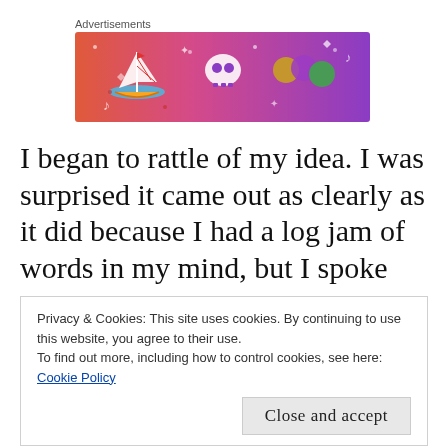[Figure (illustration): Colorful advertisement banner with gradient background (pink/orange to purple) featuring white doodle illustrations: a sailboat, skull, geometric spheres/dice, stars, diamonds, music notes, and other decorative elements. Labeled 'Advertisements' above.]
I began to rattle of my idea. I was surprised it came out as clearly as it did because I had a log jam of words in my mind, but I spoke
Privacy & Cookies: This site uses cookies. By continuing to use this website, you agree to their use.
To find out more, including how to control cookies, see here:
Cookie Policy

Close and accept
froze. Oh, I don't have one. So I took one